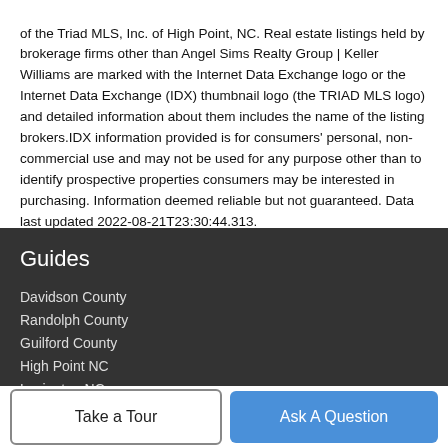of the Triad MLS, Inc. of High Point, NC. Real estate listings held by brokerage firms other than Angel Sims Realty Group | Keller Williams are marked with the Internet Data Exchange logo or the Internet Data Exchange (IDX) thumbnail logo (the TRIAD MLS logo) and detailed information about them includes the name of the listing brokers.IDX information provided is for consumers' personal, non-commercial use and may not be used for any purpose other than to identify prospective properties consumers may be interested in purchasing. Information deemed reliable but not guaranteed. Data last updated 2022-08-21T23:30:44.313.
Guides
Davidson County
Randolph County
Guilford County
High Point NC
Lexington NC
Take a Tour
Ask A Question
Company